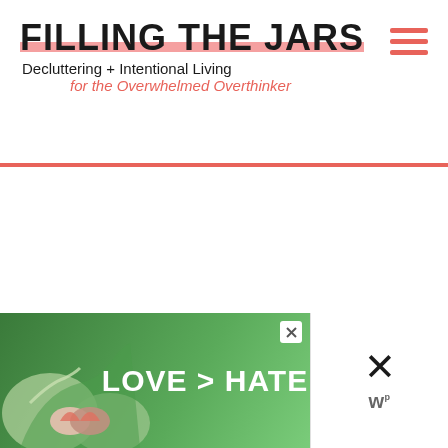FILLING THE JARS
Decluttering + Intentional Living for the Overwhelmed Overthinker
[Figure (screenshot): Large white content area (article body, blank/loading)]
[Figure (infographic): Floating action buttons: teal heart button and white share button on right side]
[Figure (infographic): What's Next panel with thumbnail and text: How to Stop Being Lazy:...]
[Figure (photo): Advertisement banner: hands forming heart shape with green background, text LOVE > HATE, close button, and Wunderkind logo on right]